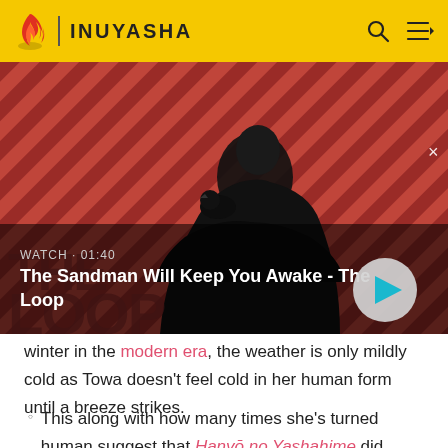INUYASHA
[Figure (screenshot): Video thumbnail for 'The Sandman Will Keep You Awake - The Loop' with a dark figure holding a raven on a red diagonal striped background, showing WATCH · 01:40 label and a play button.]
winter in the modern era, the weather is only mildly cold as Towa doesn't feel cold in her human form until a breeze strikes.
This along with how many times she's turned human suggest that Hanyō no Yashahime did